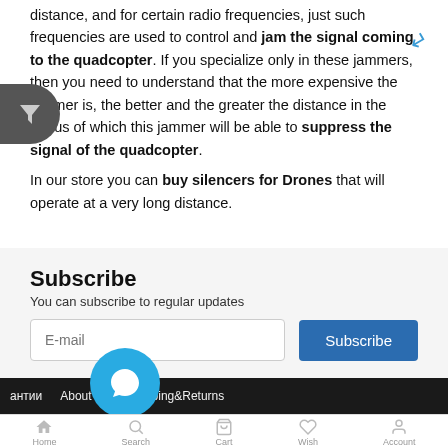distance, and for certain radio frequencies, just such frequencies are used to control and jam the signal coming to the quadcopter. If you specialize only in these jammers, then you need to understand that the more expensive the jammer is, the better and the greater the distance in the radius of which this jammer will be able to suppress the signal of the quadcopter.
In our store you can buy silencers for Drones that will operate at a very long distance.
Subscribe
You can subscribe to regular updates
антии   About Us   Shipping&Returns
Home   Search   Cart   Wish   Account